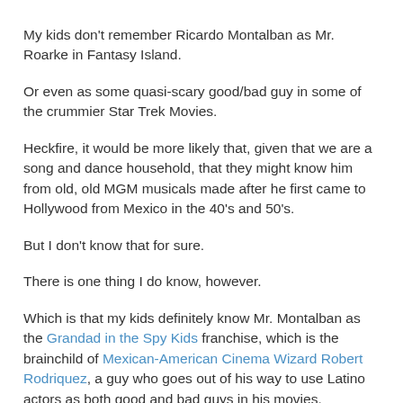My kids don't remember Ricardo Montalban as Mr. Roarke in Fantasy Island.
Or even as some quasi-scary good/bad guy in some of the crummier Star Trek Movies.
Heckfire, it would be more likely that, given that we are a song and dance household, that they might know him from old, old MGM musicals made after he first came to Hollywood from Mexico in the 40's and 50's.
But I don't know that for sure.
There is one thing I do know, however.
Which is that my kids definitely know Mr. Montalban as the Grandad in the Spy Kids franchise, which is the brainchild of Mexican-American Cinema Wizard Robert Rodriquez, a guy who goes out of his way to use Latino actors as both good and bad guys in his movies.